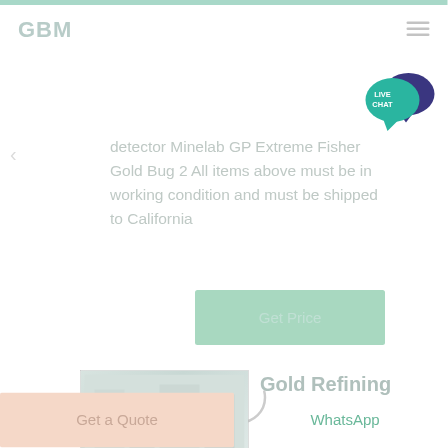GBM
detector Minelab GP Extreme Fisher Gold Bug 2 All items above must be in working condition and must be shipped to California
[Figure (other): Get Price button - teal/mint colored button]
[Figure (other): Loading spinner circle graphic]
[Figure (photo): Thumbnail photo of a facility/building interior]
Gold Refining
2021 10 25 The Miller process uses gaseous chlorine to extract impurities when gold is at melting point Impurities separate into a layer on the
[Figure (other): Get a Quote button - peach/salmon colored]
[Figure (other): WhatsApp button - teal text link]
[Figure (other): Live Chat speech bubble badge - teal and dark blue]